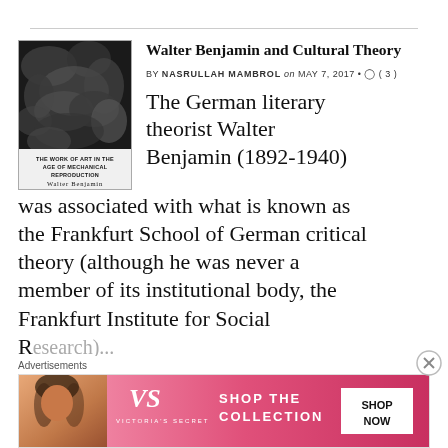Walter Benjamin and Cultural Theory
BY NASRULLAH MAMBROL on MAY 7, 2017 • ( 3 )
[Figure (photo): Book cover of 'The Work of Art in the Age of Mechanical Reproduction' by Walter Benjamin, black and white image]
The German literary theorist Walter Benjamin (1892-1940) was associated with what is known as the Frankfurt School of German critical theory (although he was never a member of its institutional body, the Frankfurt Institute for Social Research). His analysis...
Advertisements
[Figure (screenshot): Victoria's Secret advertisement banner: SHOP THE COLLECTION / SHOP NOW]